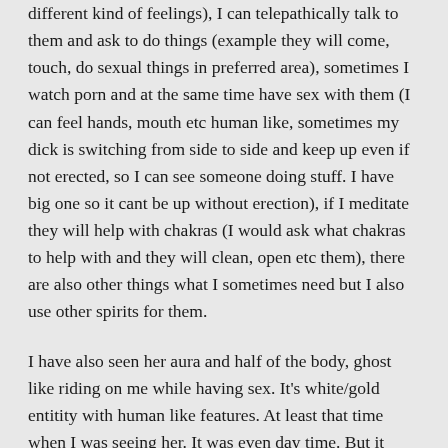different kind of feelings), I can telepathically talk to them and ask to do things (example they will come, touch, do sexual things in preferred area), sometimes I watch porn and at the same time have sex with them (I can feel hands, mouth etc human like, sometimes my dick is switching from side to side and keep up even if not erected, so I can see someone doing stuff. I have big one so it cant be up without erection), if I meditate they will help with chakras (I would ask what chakras to help with and they will clean, open etc them), there are also other things what I sometimes need but I also use other spirits for them.
I have also seen her aura and half of the body, ghost like riding on me while having sex. It's white/gold entitity with human like features. At least that time when I was seeing her. It was even day time. But it takes very much of energy to do that from both of us. And I don't wanna dry her energies for that. Also I can hear her voice if I want. But I dont wanna